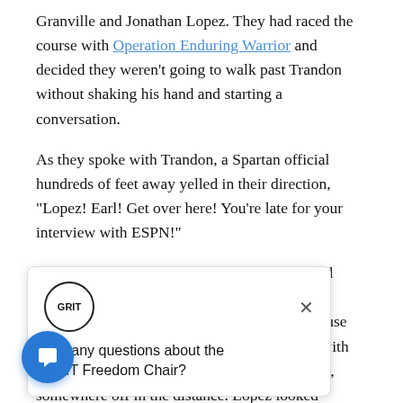Granville and Jonathan Lopez. They had raced the course with Operation Enduring Warrior and decided they weren't going to walk past Trandon without shaking his hand and starting a conversation.
As they spoke with Trandon, a Spartan official hundreds of feet away yelled in their direction, “Lopez! Earl! Get over here! You’re late for your interview with ESPN!”
Granville and Lopez all but ignored the official (who [obscured] lker, the powerhouse [obscured] eir conversation with [obscured] l, cameras in hand, somewhere off in the distance. Lopez looked Trandon in [obscured] es and said, “We have a chair you can use. Let’s [obscured] on. Please get in contact with us.”
[Figure (other): Chat popup widget with GRIT badge circle logo, close X button, and text 'Got any questions about the GRIT Freedom Chair?' overlaid on the page content]
[Figure (other): Blue circular chat button with speech bubble icon in the bottom left corner]